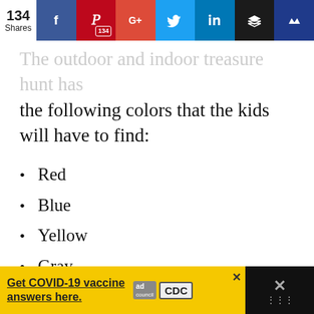[Figure (screenshot): Social media share bar with 134 shares, showing Facebook, Pinterest (134), Google+, Twitter, LinkedIn, Buffer, and WordPress icons]
The outdoor and indoor treasure hunt has the following colors that the kids will have to find:
Red
Blue
Yellow
Gray
Brown
Purple
Pink
[Figure (screenshot): Advertisement bar: Get COVID-19 vaccine answers here. Ad Council and CDC logos.]